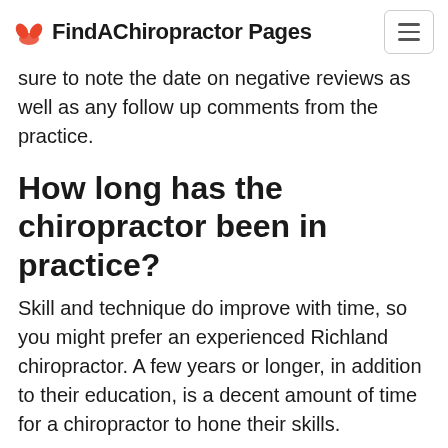FindAChiropractor Pages
sure to note the date on negative reviews as well as any follow up comments from the practice.
How long has the chiropractor been in practice?
Skill and technique do improve with time, so you might prefer an experienced Richland chiropractor. A few years or longer, in addition to their education, is a decent amount of time for a chiropractor to hone their skills.
However, one with less hands-on experience might offer you the same results. Unless you